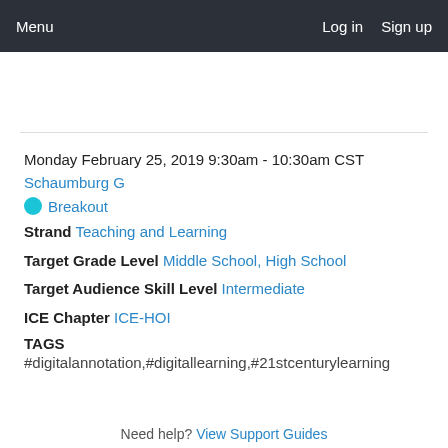Menu   Log in   Sign up
Monday February 25, 2019 9:30am - 10:30am CST
Schaumburg G
● Breakout
Strand Teaching and Learning
Target Grade Level Middle School, High School
Target Audience Skill Level Intermediate
ICE Chapter ICE-HOI
TAGS
#digitalannotation,#digitallearning,#21stcenturylearning
Need help? View Support Guides